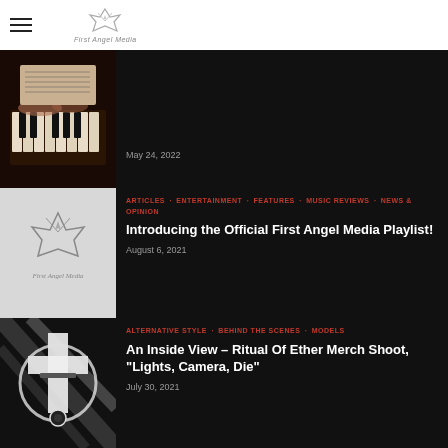First Angel Media
[Figure (photo): Person playing piano, cropped view of hands on keys, dark background]
May 24, 2022
ARTICLES · ENTERTAINMENT · FEATURES · MUSIC REVIEWS · NEWS & OPINION
Introducing the Official First Angel Media Playlist!
[Figure (logo): First Angel Media logo on light grey background]
August 6, 2021
ALTERNATIVE STYLE · BEHIND THE SCENES · MODELS
An Inside View – Ritual Of Ether Merch Shoot, "Lights, Camera, Die"
[Figure (photo): Black and white photo of model wearing alternative fashion with cross and circular motif]
July 30, 2021